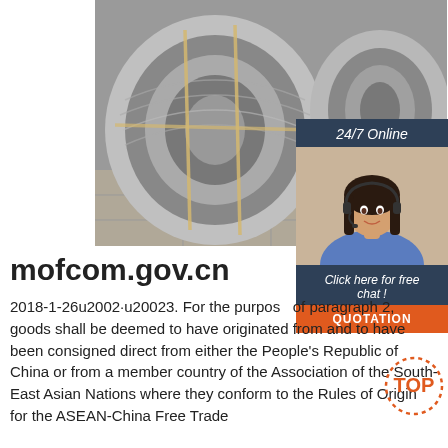[Figure (photo): Coils of steel/aluminum wire rod stacked on a floor, industrial product photo]
[Figure (photo): 24/7 Online customer service widget with a female agent wearing headset, 'Click here for free chat!' and 'QUOTATION' button]
mofcom.gov.cn
2018-1-26u2002·u20023. For the purposes of paragraph 2, goods shall be deemed to have originated from and to have been consigned direct from either the People's Republic of China or from a member country of the Association of the South-East Asian Nations where they conform to the Rules of Origin for the ASEAN-China Free Trade